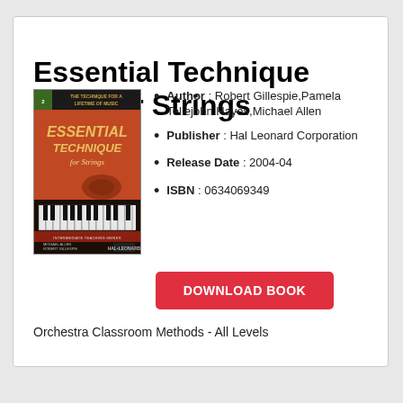Essential Technique 2000 for Strings
[Figure (illustration): Book cover for 'Essential Technique for Strings' showing piano keys and violin, published by Hal Leonard]
Author : Robert Gillespie,Pamela Tellejohn Hayes,Michael Allen
Publisher : Hal Leonard Corporation
Release Date : 2004-04
ISBN : 0634069349
DOWNLOAD BOOK
Orchestra Classroom Methods - All Levels